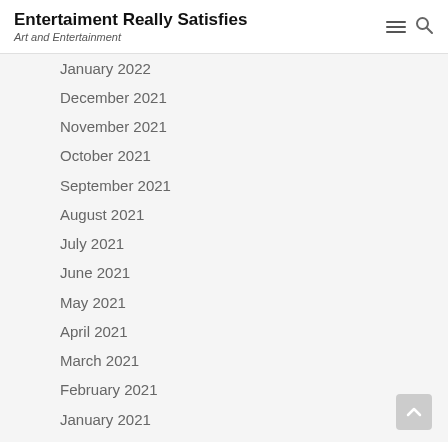Entertaiment Really Satisfies — Art and Entertainment
January 2022
December 2021
November 2021
October 2021
September 2021
August 2021
July 2021
June 2021
May 2021
April 2021
March 2021
February 2021
January 2021
December 2020
November 2020
October 2020
September 2020
August 2020
July 2020